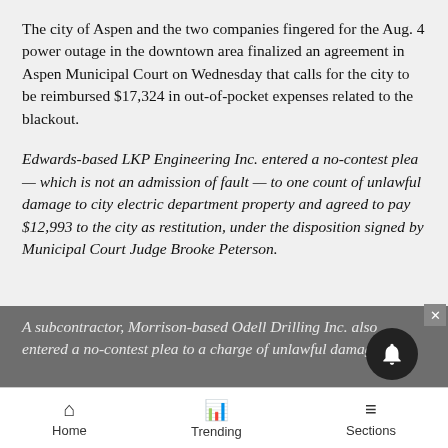The city of Aspen and the two companies fingered for the Aug. 4 power outage in the downtown area finalized an agreement in Aspen Municipal Court on Wednesday that calls for the city to be reimbursed $17,324 in out-of-pocket expenses related to the blackout.
Edwards-based LKP Engineering Inc. entered a no-contest plea — which is not an admission of fault — to one count of unlawful damage to city electric department property and agreed to pay $12,993 to the city as restitution, under the disposition signed by Municipal Court Judge Brooke Peterson.
A subcontractor, Morrison-based Odell Drilling Inc. also entered a no-contest plea to a charge of unlawful damage
Home   Trending   Sections